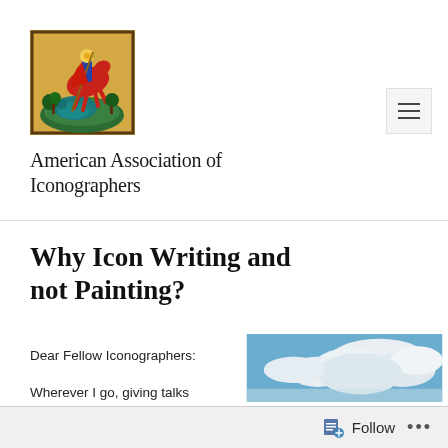[Figure (illustration): Orthodox icon painting of Saint George on a red horse slaying a dragon, with decorative border, square format]
American Association of Iconographers
Why Icon Writing and not Painting?
Dear Fellow Iconographers:
[Figure (photo): Photograph of blue sky with white clouds]
Wherever I go, giving talks
Follow ...